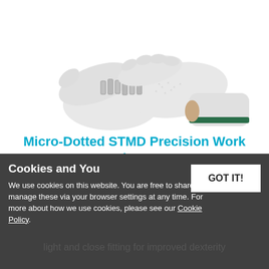[Figure (photo): Two hands wearing white micro-dotted precision work gloves holding small metal springs against a white background. One glove has a green stripe at the wrist.]
Micro-Dotted STMD Precision Work Gloves
★★★★★ (3)
£0.85
Cookies and You
We use cookies on this website. You are free to share manage these via your browser settings at any time. For more about how we use cookies, please see our Cookie Policy.
GOT IT!
light and close fitting for improved dexterity